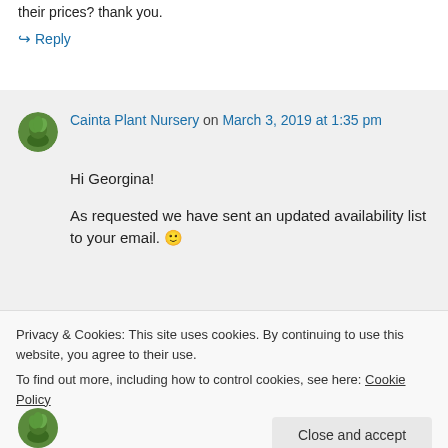their prices? thank you.
↪ Reply
Cainta Plant Nursery on March 3, 2019 at 1:35 pm
Hi Georgina!
As requested we have sent an updated availability list to your email. 🙂
Privacy & Cookies: This site uses cookies. By continuing to use this website, you agree to their use.
To find out more, including how to control cookies, see here: Cookie Policy
Close and accept